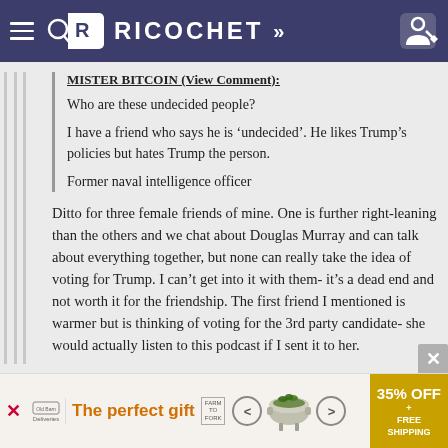RICOCHET
MISTER BITCOIN (View Comment):
Who are these undecided people?
I have a friend who says he is 'undecided'. He likes Trump's policies but hates Trump the person.
Former naval intelligence officer
Ditto for three female friends of mine. One is further right-leaning than the others and we chat about Douglas Murray and can talk about everything together, but none can really take the idea of voting for Trump. I can't get into it with them- it's a dead end and not worth it for the friendship. The first friend I mentioned is warmer but is thinking of voting for the 3rd party candidate- she would actually listen to this podcast if I sent it to her.
[Figure (screenshot): Advertisement banner: 'The perfect gift' with product images, navigation arrows, and '35% OFF + FREE SHIPPING' offer badge]